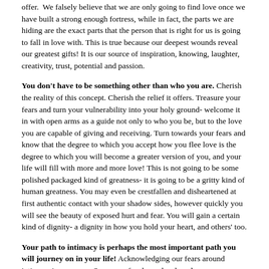offer. We falsely believe that we are only going to find love once we have built a strong enough fortress, while in fact, the parts we are hiding are the exact parts that the person that is right for us is going to fall in love with. This is true because our deepest wounds reveal our greatest gifts! It is our source of inspiration, knowing, laughter, creativity, trust, potential and passion.
You don't have to be something other than who you are. Cherish the reality of this concept. Cherish the relief it offers. Treasure your fears and turn your vulnerability into your holy ground- welcome it in with open arms as a guide not only to who you be, but to the love you are capable of giving and receiving. Turn towards your fears and know that the degree to which you accept how you flee love is the degree to which you will become a greater version of you, and your life will fill with more and more love! This is not going to be some polished packaged kind of greatness- it is going to be a gritty kind of human greatness. You may even be crestfallen and disheartened at first authentic contact with your shadow sides, however quickly you will see the beauty of exposed hurt and fear. You will gain a certain kind of dignity- a dignity in how you hold your heart, and others' too.
Your path to intimacy is perhaps the most important path you will journey on in your life! Acknowledging our fears around intimacy is a process. So many of us have developed very sophisticated strategies and defenses so as to protect ourselves and the world from truly seeing or hearing our fears. Learning to listen inward is a courageous act that requires self-compassion and curiosity. It can be incredibly supportive to do this archeological heart work in relationship with someone else, be them your